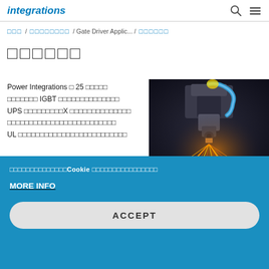integrations
□□□ / □□□□□□□□ / Gate Driver Applic... / □□□□□□
□□□□□□
Power Integrations の 25 □□□□□ □□□□□□□ IGBT □□□□□□□□□□□□□□ UPS □□□□□□□□□X □□□□□□□□□□□□□□ □□□□□□□□□□□□□□□□□□□□□□ □ UL □□□□□□□□□□□□□□□□□□□□□□□□
[Figure (photo): Industrial laser cutting machine in operation, showing sparks flying from metal cutting process with robotic arm and blue tubing]
□□□□□□□□□□□□□□Cookie □□□□□□□□□□□□□□□□
MORE INFO
ACCEPT